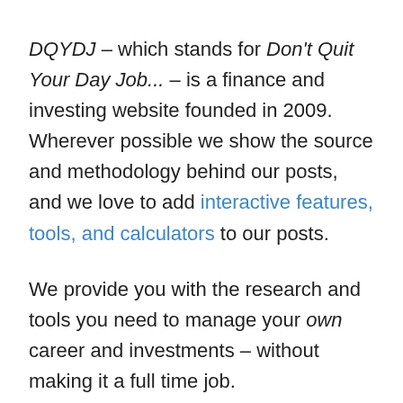DQYDJ – which stands for Don't Quit Your Day Job... – is a finance and investing website founded in 2009. Wherever possible we show the source and methodology behind our posts, and we love to add interactive features, tools, and calculators to our posts.
We provide you with the research and tools you need to manage your own career and investments – without making it a full time job.